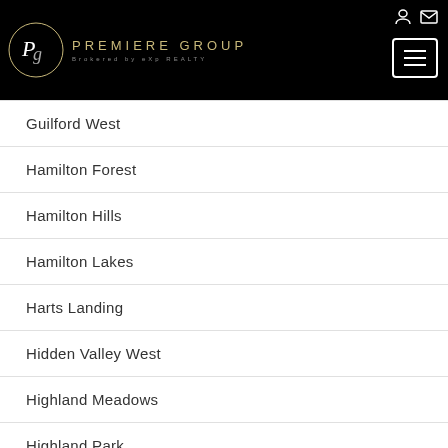[Figure (logo): Premiere Group logo — circular script Pg emblem in white on black, beside text PREMIERE GROUP brokered by eXp REALTY in gold/grey on black background, with hamburger menu button and icons on the right]
Guilford West
Hamilton Forest
Hamilton Hills
Hamilton Lakes
Harts Landing
Hidden Valley West
Highland Meadows
Highland Park